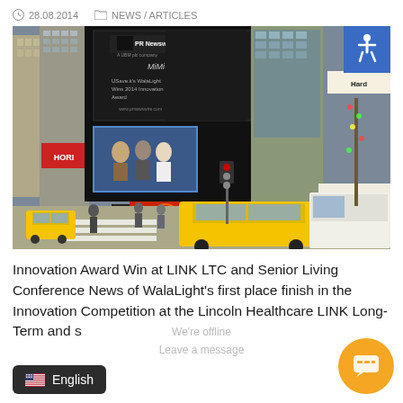28.08.2014   NEWS / ARTICLES
[Figure (photo): Times Square New York City street scene with yellow taxis, tall buildings, and a large PR Newswire/MiMi digital billboard showing an award presentation. Accessibility icon in top-right corner.]
Innovation Award Win at LINK LTC and Senior Living Conference News of WalaLight's first place finish in the Innovation Competition at the Lincoln Healthcare LINK Long-Term and s